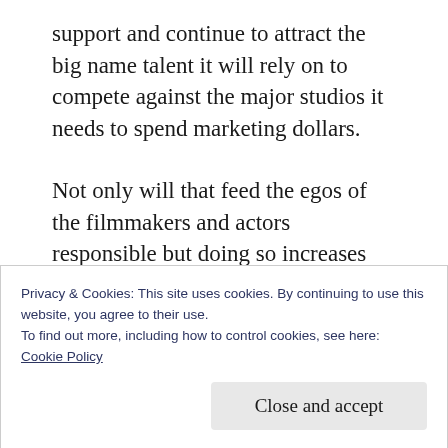support and continue to attract the big name talent it will rely on to compete against the major studios it needs to spend marketing dollars.
Not only will that feed the egos of the filmmakers and actors responsible but doing so increases the reach of the movie's message and awareness. Current subscribers will be encouraged to maintain membership to keep access and others will consider signing up
Privacy & Cookies: This site uses cookies. By continuing to use this website, you agree to their use.
To find out more, including how to control cookies, see here:
Cookie Policy
Close and accept